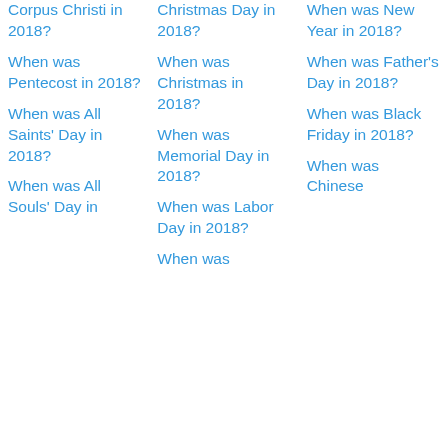Corpus Christi in 2018?
When was Pentecost in 2018?
When was All Saints' Day in 2018?
When was All Souls' Day in
Christmas Day in 2018?
When was Christmas in 2018?
When was Memorial Day in 2018?
When was Labor Day in 2018?
When was
When was New Year in 2018?
When was Father's Day in 2018?
When was Black Friday in 2018?
When was Chinese